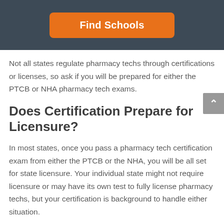Find Schools
Not all states regulate pharmacy techs through certifications or licenses, so ask if you will be prepared for either the PTCB or NHA pharmacy tech exams.
Does Certification Prepare for Licensure?
In most states, once you pass a pharmacy tech certification exam from either the PTCB or the NHA, you will be all set for state licensure. Your individual state might not require licensure or may have its own test to fully license pharmacy techs, but your certification is background to handle either situation.